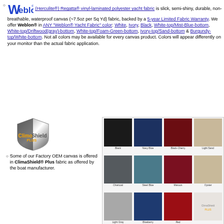Weblon® (Herculite®) Regatta® vinyl-laminated polyester yacht fabric is slick, semi-shiny, durable, non-breathable, waterproof canvas (~7.5oz per Sq Yd) fabric, backed by a 5-year Limited Fabric Warranty. We offer Weblon® in ANY "Weblon® Yacht Fabric" color: White, Ivory, Black, White-top/Mist-Blue-bottom, White-top/Driftwood(gray)-bottom, White-top/Foam-Green-bottom, Ivory-top/Sand-bottom & Burgundy-top/White-bottom. Not all colors may be available for every canvas product. Colors will appear differently on your monitor than the actual fabric application.
[Figure (logo): Weblon logo with stylized W in blue mosaic pattern]
[Figure (logo): ClimaShield Plus logo with shield graphic, orange and gray text]
Some of our Factory OEM canvas is offered in ClimaShield® Plus fabric as offered by the boat manufacturer.
[Figure (other): Color swatch grid showing 12 fabric colors: Black, Navy Blue, Black-Cherry, Light Sand (top row); Charcoal, Steel Blue, Maroon, Oyster (middle row); Light Gray, Blueberry, Red, ClimaShield Plus logo (bottom row)]